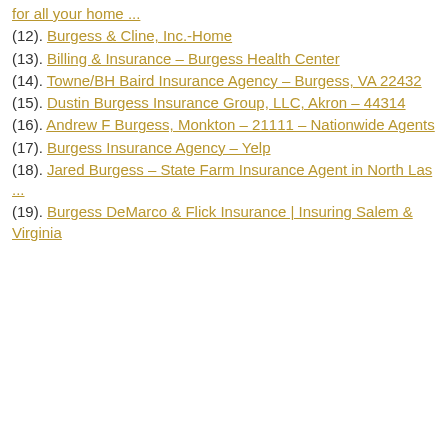for all your home ...
(12). Burgess & Cline, Inc.-Home
(13). Billing & Insurance – Burgess Health Center
(14). Towne/BH Baird Insurance Agency – Burgess, VA 22432
(15). Dustin Burgess Insurance Group, LLC, Akron – 44314
(16). Andrew F Burgess, Monkton – 21111 – Nationwide Agents
(17). Burgess Insurance Agency – Yelp
(18). Jared Burgess – State Farm Insurance Agent in North Las ...
(19). Burgess DeMarco & Flick Insurance | Insuring Salem & Virginia